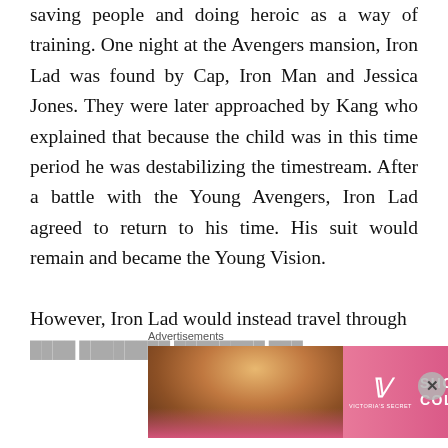saving people and doing heroic as a way of training. One night at the Avengers mansion, Iron Lad was found by Cap, Iron Man and Jessica Jones. They were later approached by Kang who explained that because the child was in this time period he was destabilizing the timestream. After a battle with the Young Avengers, Iron Lad agreed to return to his time. His suit would remain and became the Young Vision.

However, Iron Lad would instead travel through
[Figure (other): Victoria's Secret advertisement banner. Pink gradient background with a woman's photo on the left, Victoria's Secret logo in center-left, text 'SHOP THE COLLECTION' in white, and a white 'SHOP NOW' button on the right.]